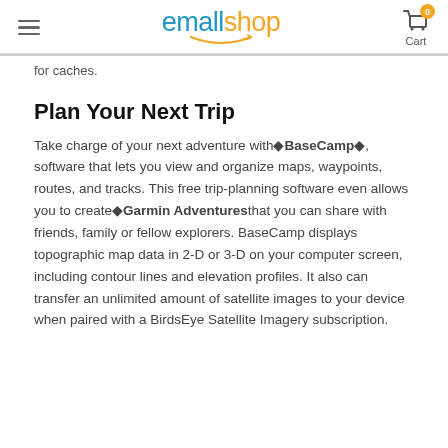emallshop — Cart (0)
…for caches.
Plan Your Next Trip
Take charge of your next adventure with◆BaseCamp◆, software that lets you view and organize maps, waypoints, routes, and tracks. This free trip-planning software even allows you to create◆Garmin Adventuresthat you can share with friends, family or fellow explorers. BaseCamp displays topographic map data in 2-D or 3-D on your computer screen, including contour lines and elevation profiles. It also can transfer an unlimited amount of satellite images to your device when paired with a BirdsEye Satellite Imagery subscription.